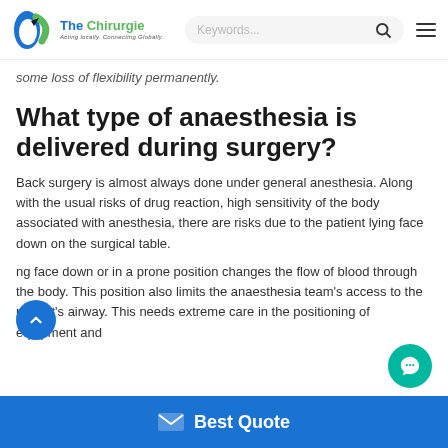The Chirurgie — Acting locally. Connecting Globally.
some loss of flexibility permanently.
What type of anaesthesia is delivered during surgery?
Back surgery is almost always done under general anesthesia. Along with the usual risks of drug reaction, high sensitivity of the body associated with anesthesia, there are risks due to the patient lying face down on the surgical table.
ng face down or in a prone position changes the flow of blood through the body. This position also limits the anaesthesia team's access to the patient's airway. This needs extreme care in the positioning of equipment and
Best Quote